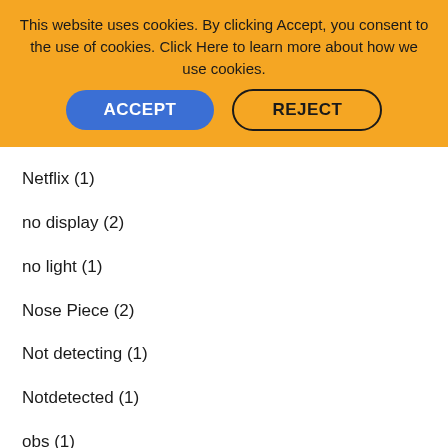This website uses cookies. By clicking Accept, you consent to the use of cookies. Click Here to learn more about how we use cookies.
ACCEPT
REJECT
Netflix (1)
no display (2)
no light (1)
Nose Piece (2)
Not detecting (1)
Notdetected (1)
obs (1)
Oculus (1)